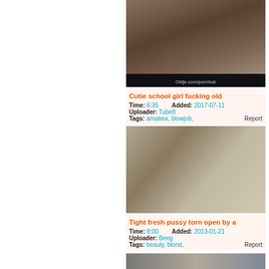[Figure (photo): Thumbnail image for adult video 1]
Cutie school girl fucking old
Time: 6:35   Added: 2017-07-11
Uploader: Tube8
Tags: amateur, blowjob,   Report
[Figure (photo): Thumbnail image for adult video 2]
Tight fresh pussy torn open by a
Time: 8:00   Added: 2013-01-21
Uploader: Beeg
Tags: beauty, blond,   Report
[Figure (photo): Thumbnail image for adult video 3 (partial)]